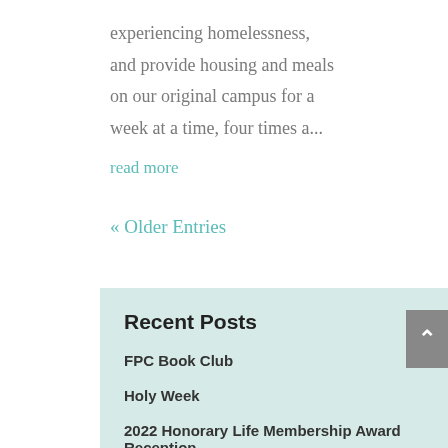experiencing homelessness, and provide housing and meals on our original campus for a week at a time, four times a...
read more
« Older Entries
Recent Posts
FPC Book Club
Holy Week
2022 Honorary Life Membership Award Reception